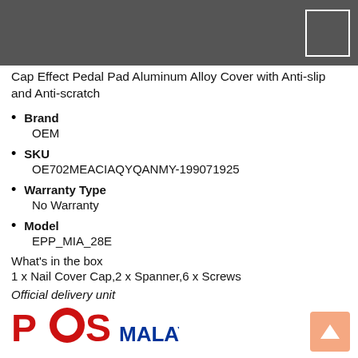Cap Effect Pedal Pad Aluminum Alloy Cover with Anti-slip and Anti-scratch
Brand
OEM
SKU
OE702MEACIAQYQANMY-199071925
Warranty Type
No Warranty
Model
EPP_MIA_28E
What's in the box
1 x Nail Cover Cap,2 x Spanner,6 x Screws
Official delivery unit
[Figure (logo): Pos Malaysia logo with red POS text and blue MALAYSIA text]